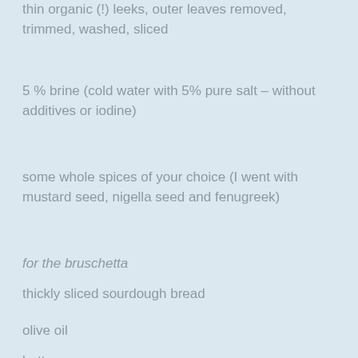thin organic (!) leeks, outer leaves removed, trimmed, washed, sliced
5 % brine (cold water with 5% pure salt – without additives or iodine)
some whole spices of your choice (I went with mustard seed, nigella seed and fenugreek)
for the bruschetta
thickly sliced sourdough bread
olive oil
butter